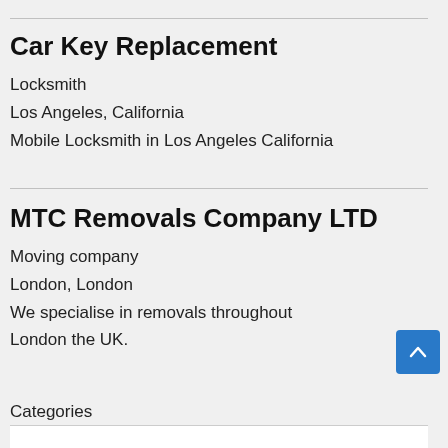Car Key Replacement
Locksmith
Los Angeles, California
Mobile Locksmith in Los Angeles California
MTC Removals Company LTD
Moving company
London, London
We specialise in removals throughout London the UK.
Categories